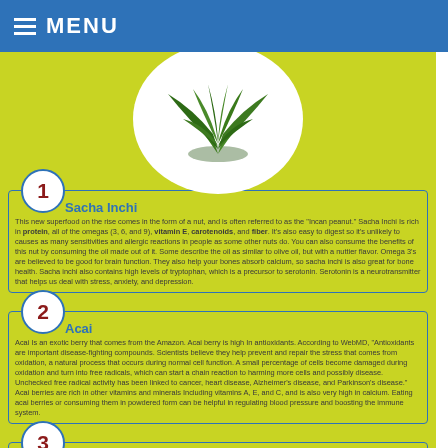MENU
[Figure (photo): Green leafy plant/herb shown in a white circular frame on a yellow-green background]
1 Sacha Inchi
This new superfood on the rise comes in the form of a nut, and is often referred to as the "Incan peanut." Sacha Inchi is rich in protein, all of the omegas (3, 6, and 9), vitamin E, carotenoids, and fiber. It's also easy to digest so it's unlikely to causes as many sensitivities and allergic reactions in people as some other nuts do. You can also consume the benefits of this nut by consuming the oil made out of it. Some describe the oil as similar to olive oil, but with a nuttier flavor. Omega 3's are believed to be good for brain function. They also help your bones absorb calcium, so sacha inchi is also great for bone health. Sacha inchi also contains high levels of tryptophan, which is a precursor to serotonin. Serotonin is a neurotransmitter that helps us deal with stress, anxiety, and depression.
2 Acai
Acai is an exotic berry that comes from the Amazon. Acai berry is high in antioxidants. According to WebMD, "Antioxidants are important disease-fighting compounds. Scientists believe they help prevent and repair the stress that comes from oxidation, a natural process that occurs during normal cell function. A small percentage of cells become damaged during oxidation and turn into free radicals, which can start a chain reaction to harming more cells and possibly disease. Unchecked free radical activity has been linked to cancer, heart disease, Alzheimer's disease, and Parkinson's disease." Acai berries are rich in other vitamins and minerals including vitamins A, E, and C, and is also very high in calcium. Eating acai berries or consuming them in powdered form can be helpful in regulating blood pressure and boosting the immune system.
3 Wakame
Wakame is a green vegetable that is commonly found in miso soup. It is a powerhouse of nutrients, some of which are magnesium, calcium, iron, vitamin C, folate, B2, and iodine.